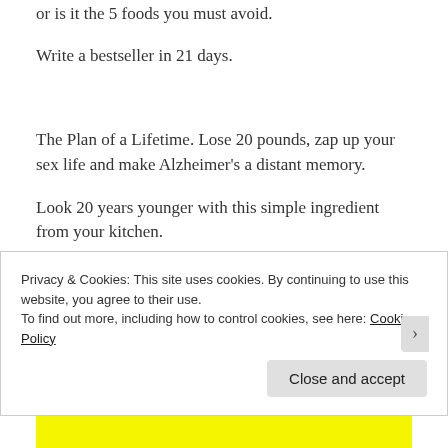or is it the 5 foods you must avoid.
Write a bestseller in 21 days.
The Plan of a Lifetime. Lose 20 pounds, zap up your sex life and make Alzheimer's a distant memory.
Look 20 years younger with this simple ingredient from your kitchen.
Privacy & Cookies: This site uses cookies. By continuing to use this website, you agree to their use.
To find out more, including how to control cookies, see here: Cookie Policy
Close and accept